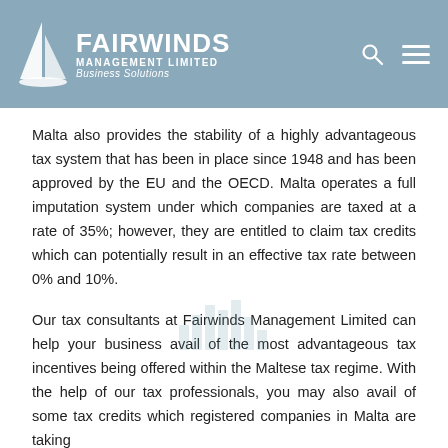FAIRWINDS MANAGEMENT LIMITED Business Solutions
Malta also provides the stability of a highly advantageous tax system that has been in place since 1948 and has been approved by the EU and the OECD. Malta operates a full imputation system under which companies are taxed at a rate of 35%; however, they are entitled to claim tax credits which can potentially result in an effective tax rate between 0% and 10%.
Our tax consultants at Fairwinds Management Limited can help your business avail of the most advantageous tax incentives being offered within the Maltese tax regime. With the help of our tax professionals, you may also avail of some tax credits which registered companies in Malta are taking advantage of...